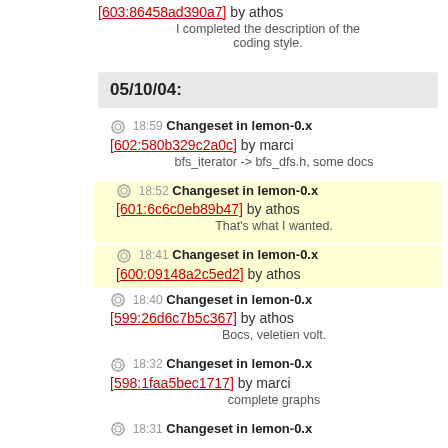[603:86458ad390a7] by athos — I completed the description of the coding style.
05/10/04:
18:59 Changeset in lemon-0.x [602:580b329c2a0c] by marci — bfs_iterator -> bfs_dfs.h, some docs
18:52 Changeset in lemon-0.x [601:6c6c0eb89b47] by athos — That's what I wanted.
18:41 Changeset in lemon-0.x [600:09148a2c5ed2] by athos
18:40 Changeset in lemon-0.x [599:26d6c7b5c367] by athos — Bocs, veletien volt.
18:32 Changeset in lemon-0.x [598:1faa5bec1717] by marci — complete graphs
18:31 Changeset in lemon-0.x